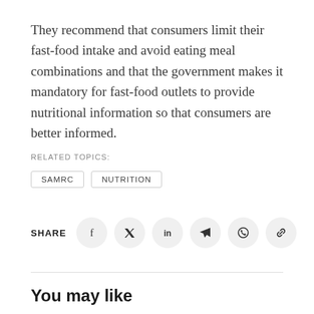They recommend that consumers limit their fast-food intake and avoid eating meal combinations and that the government makes it mandatory for fast-food outlets to provide nutritional information so that consumers are better informed.
RELATED TOPICS:
SAMRC
NUTRITION
[Figure (other): Social share buttons row: SHARE label followed by circular icon buttons for Facebook, Twitter, LinkedIn, Telegram, WhatsApp, and link copy]
You may like